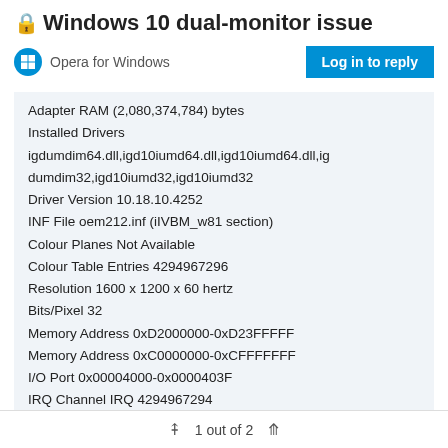🔒 Windows 10 dual-monitor issue
Opera for Windows
Log in to reply
Adapter RAM (2,080,374,784) bytes
Installed Drivers
igdumdim64.dll,igd10iumd64.dll,igd10iumd64.dll,igdumdim32,igd10iumd32,igd10iumd32
Driver Version 10.18.10.4252
INF File oem212.inf (iIVBM_w81 section)
Colour Planes Not Available
Colour Table Entries 4294967296
Resolution 1600 x 1200 x 60 hertz
Bits/Pixel 32
Memory Address 0xD2000000-0xD23FFFFF
Memory Address 0xC0000000-0xCFFFFFFF
I/O Port 0x00004000-0x0000403F
IRQ Channel IRQ 4294967294
I/O Port 0x000003B0-0x000003BB
1 out of 2